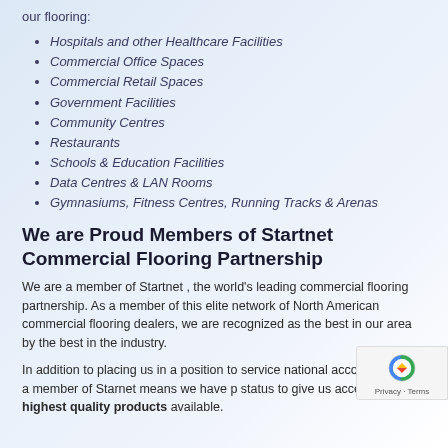our flooring:
Hospitals and other Healthcare Facilities
Commercial Office Spaces
Commercial Retail Spaces
Government Facilities
Community Centres
Restaurants
Schools & Education Facilities
Data Centres & LAN Rooms
Gymnasiums, Fitness Centres, Running Tracks & Arenas
We are Proud Members of Startnet Commercial Flooring Partnership
We are a member of Startnet , the world's leading commercial flooring partnership. As a member of this elite network of North American commercial flooring dealers, we are recognized as the best in our area by the best in the industry.
In addition to placing us in a position to service national accounts, being a member of Starnet means we have p... status to give us access to the highest quality products available.